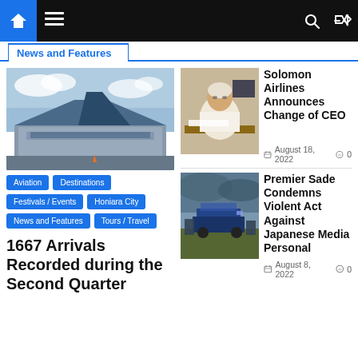News and Features
News and Features
[Figure (photo): Honiara International Airport exterior with distinctive angular roof and blue sky]
Aviation
Destinations
Festivals / Events
Honiara City
News and Features
Tours / Travel
1667 Arrivals Recorded during the Second Quarter
[Figure (photo): Man sitting at a desk in an office, Solomon Airlines CEO]
Solomon Airlines Announces Change of CEO
August 18, 2022  0
[Figure (photo): Outdoor scene with vehicles and people, Premier Sade Condemns Violent Act]
Premier Sade Condemns Violent Act Against Japanese Media Personal
August 8, 2022  0